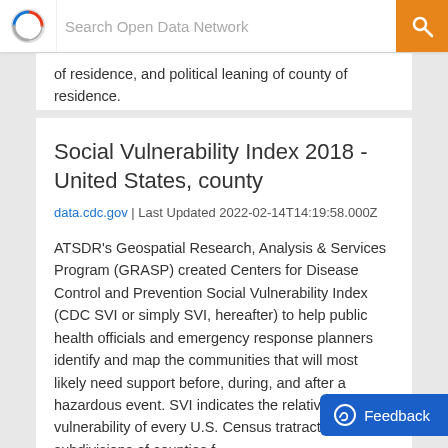Search Open Data Network
of residence, and political leaning of county of residence.
Social Vulnerability Index 2018 - United States, county
data.cdc.gov | Last Updated 2022-02-14T14:19:58.000Z
ATSDR's Geospatial Research, Analysis & Services Program (GRASP) created Centers for Disease Control and Prevention Social Vulnerability Index (CDC SVI or simply SVI, hereafter) to help public health officials and emergency response planners identify and map the communities that will most likely need support before, during, and after a hazardous event. SVI indicates the relative vulnerability of every U.S. Census tra... tracts are subdivisions of counties f...